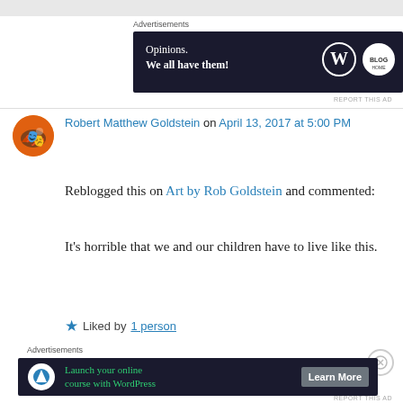[Figure (screenshot): Top gray bar at the very top of the page]
Advertisements
[Figure (infographic): WordPress advertisement banner: 'Opinions. We all have them!' with WordPress logo]
REPORT THIS AD
Robert Matthew Goldstein on April 13, 2017 at 5:00 PM
Reblogged this on Art by Rob Goldstein and commented:
It's horrible that we and our children have to live like this.
Liked by 1 person
Advertisements
[Figure (infographic): WordPress advertisement banner: 'Launch your online course with WordPress' with Learn More button]
REPORT THIS AD